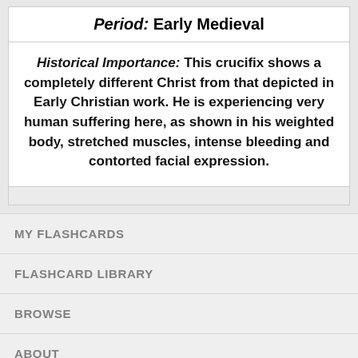Period: Early Medieval
Historical Importance: This crucifix shows a completely different Christ from that depicted in Early Christian work. He is experiencing very human suffering here, as shown in his weighted body, stretched muscles, intense bleeding and contorted facial expression.
MY FLASHCARDS
FLASHCARD LIBRARY
BROWSE
ABOUT
HELP
MOBILE